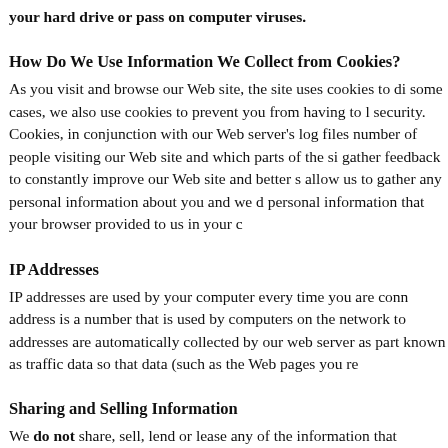your hard drive or pass on computer viruses.
How Do We Use Information We Collect from Cookies?
As you visit and browse our Web site, the site uses cookies to di some cases, we also use cookies to prevent you from having to l security. Cookies, in conjunction with our Web server's log files number of people visiting our Web site and which parts of the si gather feedback to constantly improve our Web site and better s allow us to gather any personal information about you and we d personal information that your browser provided to us in your c
IP Addresses
IP addresses are used by your computer every time you are conn address is a number that is used by computers on the network to addresses are automatically collected by our web server as part known as traffic data so that data (such as the Web pages you re
Sharing and Selling Information
We do not share, sell, lend or lease any of the information that